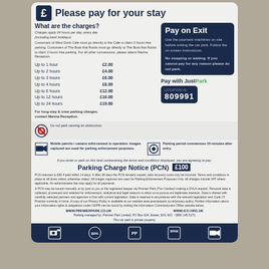Please pay for your stay
What are the charges?
Charges apply 24 hours per day, every day (including bank holidays)
Customers of West Dock Cafe must go directly to the Cafe to claim 2 hours free parking. Customers of The Boat that Rocks must go directly to The Boat that Rocks to claim 2 hours free parking. For all other concessions, please attend Marina Reception.
Up to 1 hour   £2.00
Up to 2 hours  £4.00
Up to 3 hours  £6.00
Up to 4 hours  £8.00
Up to 6 hours  £12.00
Up to 12 hours £16.00
Up to 24 hours £19.60
For long-stay & crew parking charges, contact Marina Reception.
Pay on Exit
Use the payment machines on site before exiting the car park. Follow the on screen instructions.
No stopping or waiting. If you cannot pay for any reason please do not park.
Pay with JustPark
LOCATION ID 809991
Do not park causing an obstruction.
Mobile patrols / camera enforcement in operation. Images captured are used for parking enforcement purposes.
Parking period commences 15 minutes after entry.
If you enter or park on this land contravening the terms and conditions displayed, you are agreeing to pay:
Parking Charge Notice (PCN) £100
PCN reduced to £60 if paid within 14 days. If after 28 days the PCN remains unpaid, debt recovery costs may be incurred. Terms and conditions in place at all times unless otherwise stated. All images captured are used for Parking Enforcement Purposes Only. All charges include VAT where applicable. An administrative fee may apply for all payments.
A PCN may be issued manually or by post to you or the registered keeper via Premier Park (The Creditor) making a DVLA request. Personal data is collected, processed and retained for enforcement, analytical and legal reasons to allow us to pursue our legitimate interests. Data is shared with carefully selected partners and agencies in line with current legislation. Data is retained in accordance with the relevant legislation and Code Of Practice currently in force. A copy of our Privacy Policy is available at our website www.premierpark.co.uk/privacy-policy. Further information about your information rights & obligations under GDPR can be found by visiting the Information Commissioners Office website below.
WWW.PREMIERPARK.CO.UK    WWW.ICO.ORG.UK
Parking managed by: Premier Park Limited, PO Box 624, Exeter, EX1 9JO - 0800 145 5171
This car park is private property.